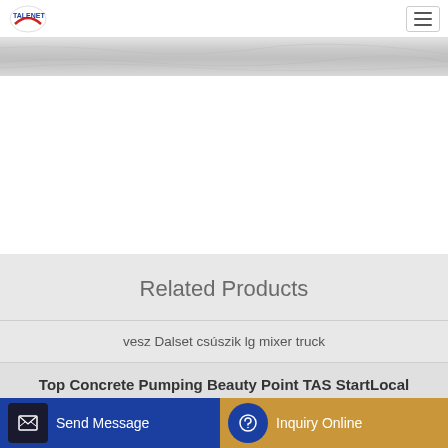TALENET (logo) — menu icon
[Figure (photo): Crumpled paper / textured background banner image]
Related Products
vesz Dalset csúszik lg mixer truck
Top Concrete Pumping Beauty Point TAS StartLocal
Concrete Pump Argo 2000
Mobile KM 800 System Mini Mobile Concrete Batching Plant
Send Message
Inquiry Online